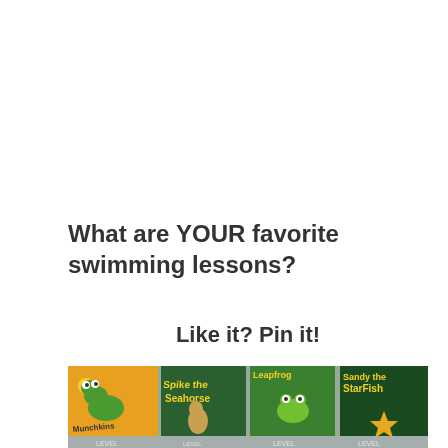What are YOUR favorite swimming lessons?
Like it? Pin it!
[Figure (photo): Row of colorful swimming lesson level banners/panels featuring cartoon characters including a green worm (Munchkins), Spike the Seahorse, Leapfrog, and Sandy the Starfish, with reflections visible below on a wet pool deck surface.]